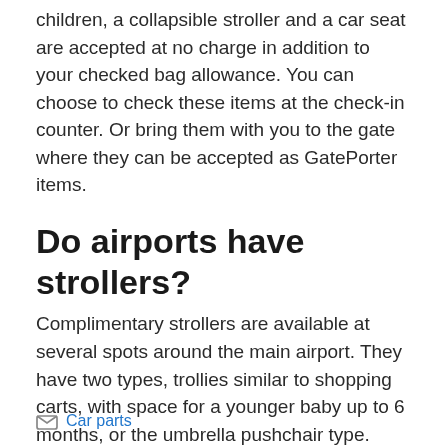children, a collapsible stroller and a car seat are accepted at no charge in addition to your checked bag allowance. You can choose to check these items at the check-in counter. Or bring them with you to the gate where they can be accepted as GatePorter items.
Do airports have strollers?
Complimentary strollers are available at several spots around the main airport. They have two types, trollies similar to shopping carts, with space for a younger baby up to 6 months, or the umbrella pushchair type.
Car parts